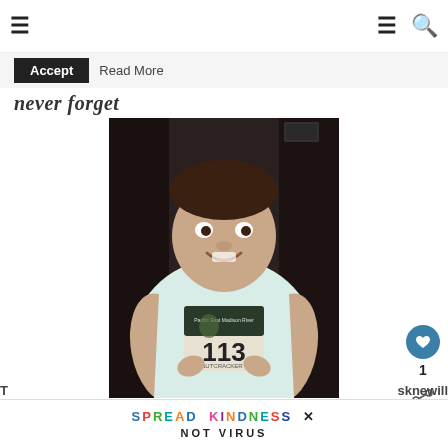☰  ☰ 🔍
Accept  Read More
never forget
[Figure (photo): A smiling young girl wearing a white tank top and holding a race bib numbered 113 with an image on it. The photo has a dark background.]
1
SPREAD KINDNESS NOT VIRUS